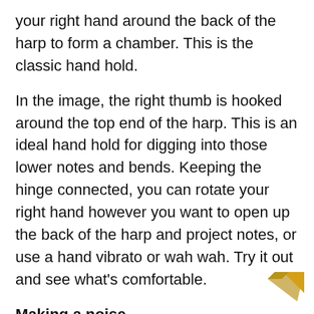your right hand around the back of the harp to form a chamber. This is the classic hand hold.
In the image, the right thumb is hooked around the top end of the harp. This is an ideal hand hold for digging into those lower notes and bends. Keeping the hinge connected, you can rotate your right hand however you want to open up the back of the harp and project notes, or use a hand vibrato or wah wah. Try it out and see what’s comfortable.
Making a noise
Most important: don’t literally blow and suck! We use these terms loosely, but this is not exactly how we play. We actually breathe the notes from the diaphragm. Exhale normally for the blow notes and inhale normally for the draw notes. No need to blast it